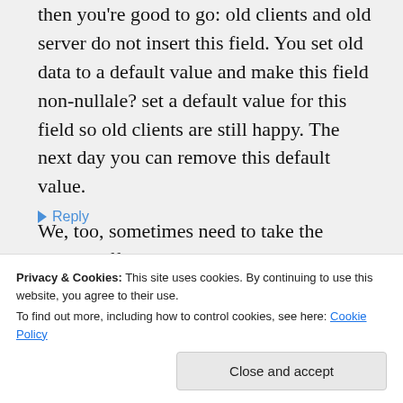then you're good to go: old clients and old server do not insert this field. You set old data to a default value and make this field non-nullale? set a default value for this field so old clients are still happy. The next day you can remove this default value.
We, too, sometimes need to take the system offline, but
Privacy & Cookies: This site uses cookies. By continuing to use this website, you agree to their use.
To find out more, including how to control cookies, see here: Cookie Policy
Close and accept
Reply